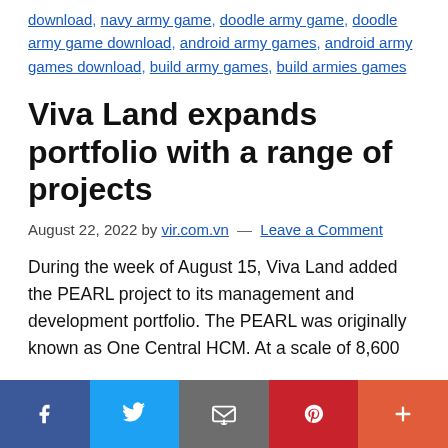download, navy army game, doodle army game, doodle army game download, android army games, android army games download, build army games, build armies games
Viva Land expands portfolio with a range of projects
August 22, 2022 by vir.com.vn — Leave a Comment
During the week of August 15, Viva Land added the PEARL project to its management and development portfolio. The PEARL was originally known as One Central HCM. At a scale of 8,600